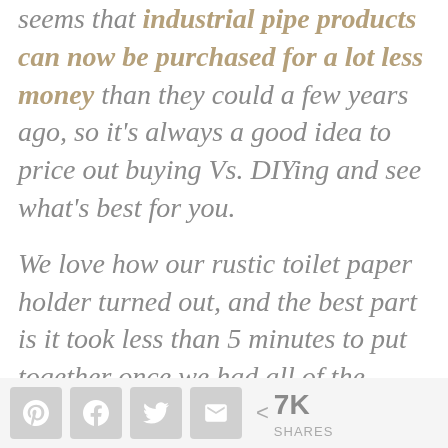seems that industrial pipe products can now be purchased for a lot less money than they could a few years ago, so it's always a good idea to price out buying Vs. DIYing and see what's best for you.
We love how our rustic toilet paper holder turned out, and the best part is it took less than 5 minutes to put together once we had all of the fittings.
If you're thinking about making –
7K SHARES